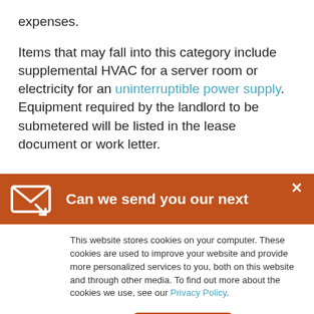expenses.
Items that may fall into this category include supplemental HVAC for a server room or electricity for an uninterruptible power supply. Equipment required by the landlord to be submetered will be listed in the lease document or work letter.
[Figure (infographic): Orange notification banner with envelope/email icon, bold white text 'Can we send you our next', and an X close button]
This website stores cookies on your computer. These cookies are used to improve your website and provide more personalized services to you, both on this website and through other media. To find out more about the cookies we use, see our Privacy Policy.
Accept